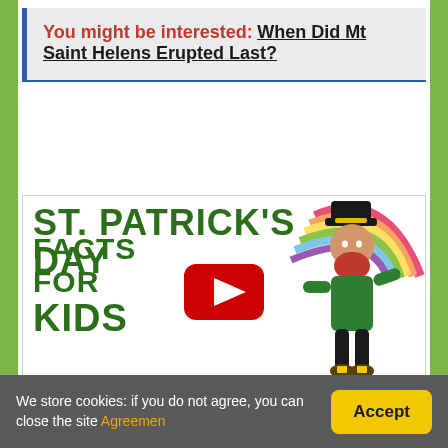You might be interested: When Did Mt Saint Helens Erupted Last?
[Figure (screenshot): St. Patrick's Day Facts for Kids video thumbnail with green bold text, a YouTube play button, and an illustrated leprechaun with a rainbow]
We store cookies: if you do not agree, you can close the site Agreemen [Accept button]